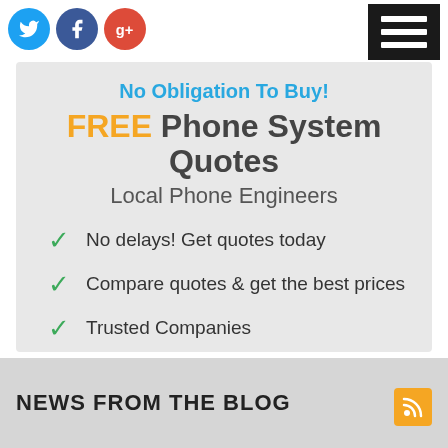[Figure (logo): Social media icons: Twitter (blue circle), Facebook (dark blue circle), Google+ (red circle)]
[Figure (other): Hamburger menu icon, black square with three white horizontal bars]
No Obligation To Buy!
FREE Phone System Quotes
Local Phone Engineers
No delays! Get quotes today
Compare quotes & get the best prices
Trusted Companies
Get Quotes
NEWS FROM THE BLOG